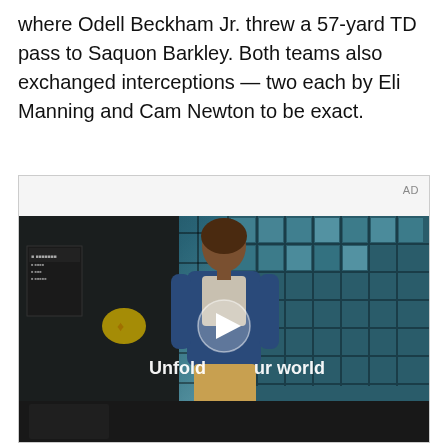where Odell Beckham Jr. threw a 57-yard TD pass to Saquon Barkley. Both teams also exchanged interceptions — two each by Eli Manning and Cam Newton to be exact.
[Figure (screenshot): An advertisement video player showing a young man walking in a cafeteria/food court with tiled windows in the background. The video overlay text reads 'Unfold your world' with a play button in the center. An 'AD' label appears in the top right of the ad container.]